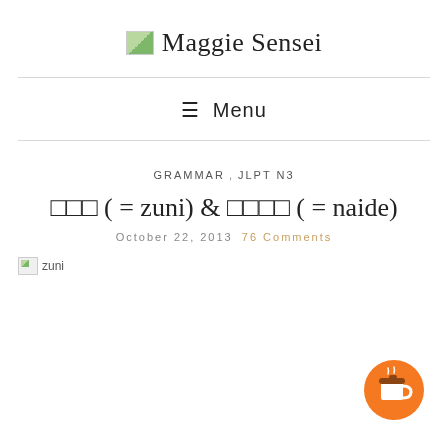Maggie Sensei
≡ Menu
Grammar , JLPT N3
□□□ ( = zuni) & □□□□ ( = naide)
October 22, 2013   76 Comments
[Figure (photo): Broken image placeholder labeled 'zuni']
[Figure (illustration): Orange circular coffee cup button in bottom right corner]